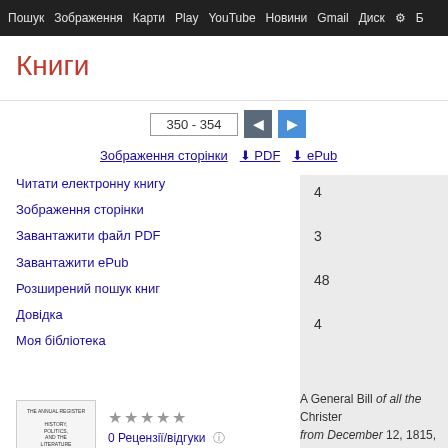Пошук  Зображення  Карти  Play  YouTube  Новини  Gmail  Диск  Б
Книги
350 - 354
Зображення сторінки  ⬇ PDF  ⬇ ePub
Читати електронну книгу
Зображення сторінки
Завантажити файл PDF
Завантажити ePub
Розширений пошук книг
Довідка
Моя бібліотека
[Figure (illustration): Book cover thumbnail for The Annual Register]
0 Рецензії/відгуки
Написати рецензію
The Annual Register, Or, A View of the History, Politics, and Literature for ...
4
3
48
4
A General Bill of all the Christer
from December 12, 1815, to Dec
Buried 1107.
Christened in the 17 parish